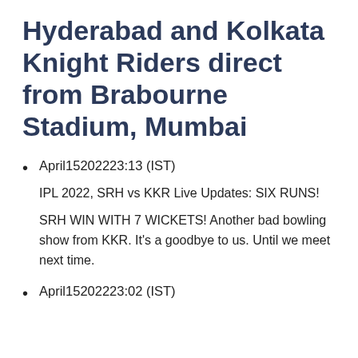Hyderabad and Kolkata Knight Riders direct from Brabourne Stadium, Mumbai
April1520222 23:13 (IST)
IPL 2022, SRH vs KKR Live Updates: SIX RUNS!
SRH WIN WITH 7 WICKETS! Another bad bowling show from KKR. It's a goodbye to us. Until we meet next time.
April1520222 23:02 (IST)